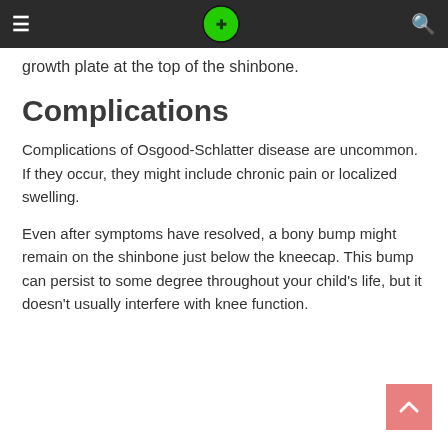≡ [logo] 🔍
growth plate at the top of the shinbone.
Complications
Complications of Osgood-Schlatter disease are uncommon. If they occur, they might include chronic pain or localized swelling.
Even after symptoms have resolved, a bony bump might remain on the shinbone just below the kneecap. This bump can persist to some degree throughout your child's life, but it doesn't usually interfere with knee function.